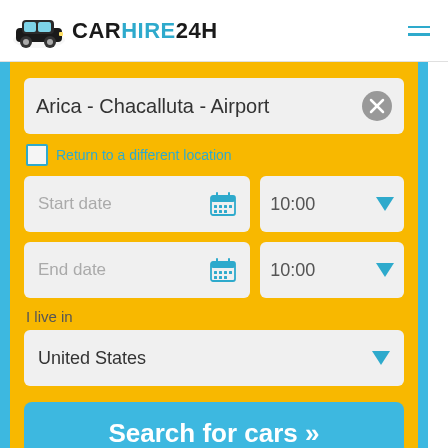CARHIRE24H
Arica - Chacalluta - Airport
Return to a different location
Start date
10:00
End date
10:00
I live in
United States
Search for cars »